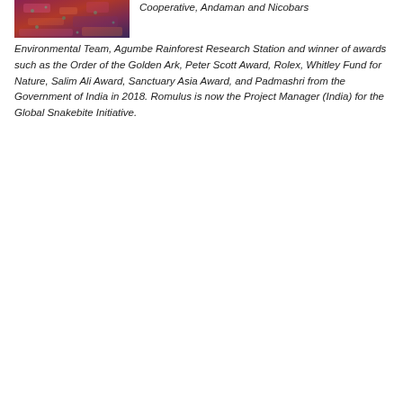[Figure (photo): Portrait photo of a person wearing a colorful patterned top in red/magenta tones]
Cooperative, Andaman and Nicobars Environmental Team, Agumbe Rainforest Research Station and winner of awards such as the Order of the Golden Ark, Peter Scott Award, Rolex, Whitley Fund for Nature, Salim Ali Award, Sanctuary Asia Award, and Padmashri from the Government of India in 2018. Romulus is now the Project Manager (India) for the Global Snakebite Initiative.